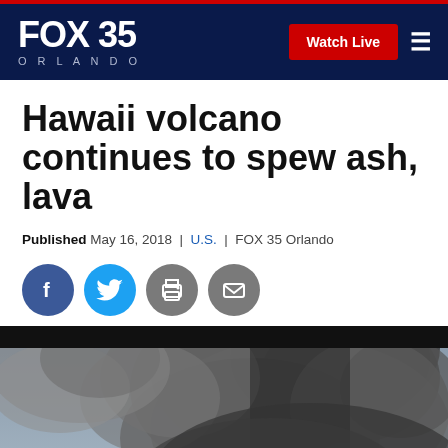FOX 35 ORLANDO | Watch Live
Hawaii volcano continues to spew ash, lava
Published May 16, 2018 | U.S. | FOX 35 Orlando
[Figure (illustration): Social media share icons: Facebook, Twitter, Print, Email]
[Figure (photo): Large ash plume from Hawaii volcano eruption rising above trees, with a person visible in the foreground]